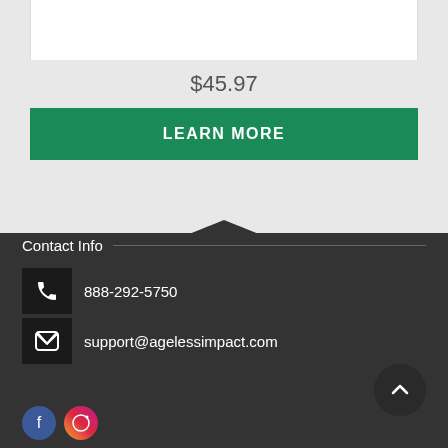$45.97
LEARN MORE
Contact Info
888-292-5750
support@agelessimpact.com